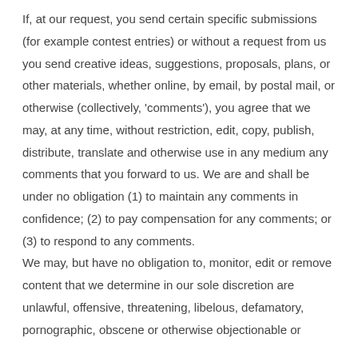If, at our request, you send certain specific submissions (for example contest entries) or without a request from us you send creative ideas, suggestions, proposals, plans, or other materials, whether online, by email, by postal mail, or otherwise (collectively, 'comments'), you agree that we may, at any time, without restriction, edit, copy, publish, distribute, translate and otherwise use in any medium any comments that you forward to us. We are and shall be under no obligation (1) to maintain any comments in confidence; (2) to pay compensation for any comments; or (3) to respond to any comments.
We may, but have no obligation to, monitor, edit or remove content that we determine in our sole discretion are unlawful, offensive, threatening, libelous, defamatory, pornographic, obscene or otherwise objectionable or